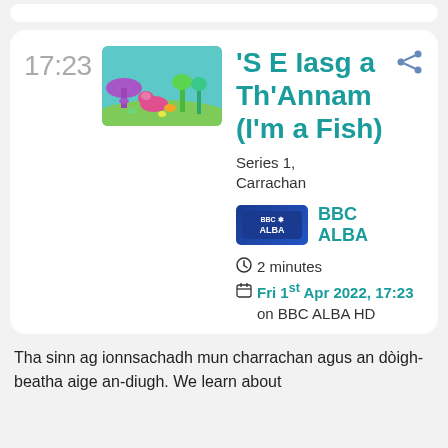'S E Iasg a Th'Annam (I'm a Fish)
17:23
[Figure (illustration): Animated underwater scene with colorful fish, coral, and sea plants]
Series 1, Carrachan
[Figure (logo): BBC ALBA channel logo badge]
BBC ALBA
2 minutes
Fri 1st Apr 2022, 17:23 on BBC ALBA HD
Tha sinn ag ionnsachadh mun charrachan agus an dòigh-beatha aige an-diugh. We learn about